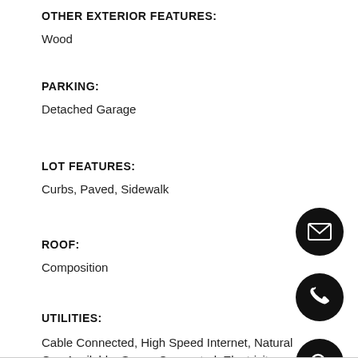OTHER EXTERIOR FEATURES:
Wood
PARKING:
Detached Garage
LOT FEATURES:
Curbs, Paved, Sidewalk
ROOF:
Composition
UTILITIES:
Cable Connected, High Speed Internet, Natural Gas Available, Sewer Connected, Electricity Available, Natural Gas Connected
Finance
[Figure (infographic): Three circular black icon buttons on the right side: envelope/email icon, phone icon, and search/magnifying glass icon]